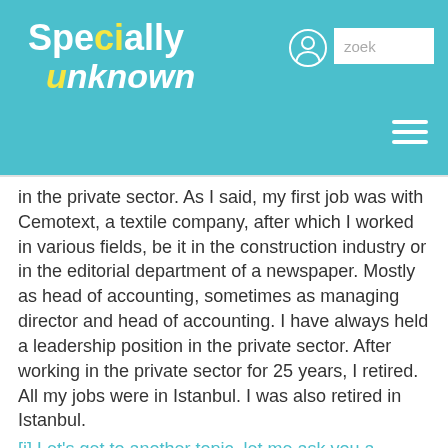Specially unknown
in the private sector. As I said, my first job was with Cemotext, a textile company, after which I worked in various fields, be it in the construction industry or in the editorial department of a newspaper. Mostly as head of accounting, sometimes as managing director and head of accounting. I have always held a leadership position in the private sector. After working in the private sector for 25 years, I retired. All my jobs were in Istanbul. I was also retired in Istanbul.
[i] Let's get to another topic, let me ask you a question about your private life. You've been married before, as you mentioned before. How did your first marriage start? Was it a love marriage, coincidence, how did it come about?
[r] My first marriage. My wife was a civil servant then, she was a laboratory technician for the Ministry of